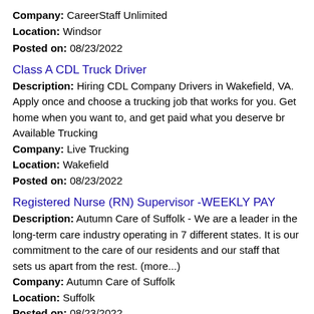Company: CareerStaff Unlimited
Location: Windsor
Posted on: 08/23/2022
Class A CDL Truck Driver
Description: Hiring CDL Company Drivers in Wakefield, VA. Apply once and choose a trucking job that works for you. Get home when you want to, and get paid what you deserve br Available Trucking
Company: Live Trucking
Location: Wakefield
Posted on: 08/23/2022
Registered Nurse (RN) Supervisor -WEEKLY PAY
Description: Autumn Care of Suffolk - We are a leader in the long-term care industry operating in 7 different states. It is our commitment to the care of our residents and our staff that sets us apart from the rest. (more...)
Company: Autumn Care of Suffolk
Location: Suffolk
Posted on: 08/23/2022
Salary in Chesapeake, Virginia Area | More details for Chesapeake, Virginia Jobs |Salary